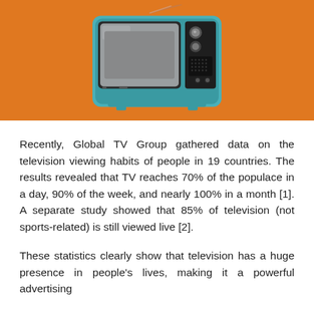[Figure (illustration): Retro-style vintage television set illustration on an orange background. The TV has a teal/blue frame, a gray screen, antenna lines extending from the top-right, and a dark panel with buttons and knobs on the right side.]
Recently, Global TV Group gathered data on the television viewing habits of people in 19 countries. The results revealed that TV reaches 70% of the populace in a day, 90% of the week, and nearly 100% in a month [1]. A separate study showed that 85% of television (not sports-related) is still viewed live [2].
These statistics clearly show that television has a huge presence in people's lives, making it a powerful advertising